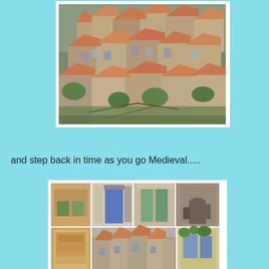[Figure (photo): Aerial view of a medieval hilltop village with stone buildings and terracotta roofs, surrounded by green vegetation]
and step back in time as you go Medieval.....
[Figure (photo): Collage of medieval village photographs showing colorful shuttered windows, stone archways, rustic facades, terracotta rooftops, flowering plants, and narrow streets]